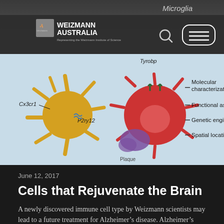[Figure (illustration): Scientific illustration of microglia cells showing Cx3cr1, P2ry12, Tyrobp labels on a yellow star-shaped cell and red spiky cell with a purple structure, with annotations: Molecular characterization, Functional assays, Genetic engineering, Spatial location. Weizmann Australia logo with search and menu icons visible in header overlay.]
June 12, 2017
Cells that Rejuvenate the Brain
A newly discovered immune cell type by Weizmann scientists may lead to a future treatment for Alzheimer’s disease. Alzheimer’s disease is a neurodegenerative disease manifested by various neuronal pathological processes…